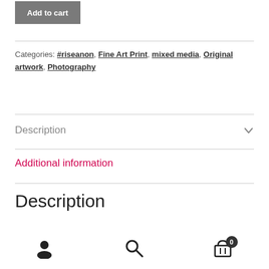Add to cart
Categories: #riseanon, Fine Art Print, mixed media, Original artwork, Photography
Description
Additional information
Description